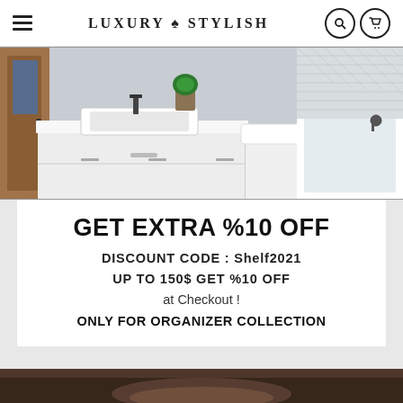LUXURY ♠ STYLISH
[Figure (photo): Bathroom interior with white vanity, sink, toilet, and bathtub with herringbone tile wall]
GET EXTRA %10 OFF
DISCOUNT CODE : Shelf2021
UP TO 150$ GET %10 OFF
at Checkout !
ONLY FOR ORGANIZER COLLECTION
[Figure (photo): Partial view of a person holding something, bottom of page, blurred]